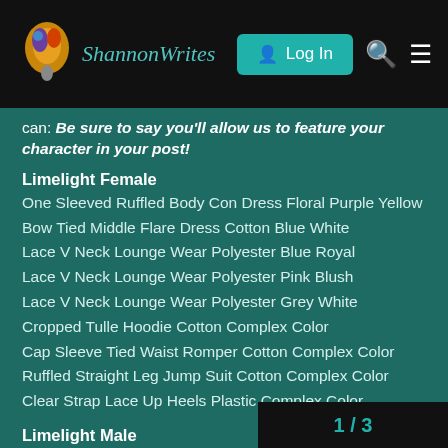ShannonWrites — Log In
can: Be sure to say you'll allow us to feature your character in your post!
Limelight Female
One Sleeved Ruffled Body Con Dress Floral Purple Yellow
Bow Tied Middle Flare Dress Cotton Blue White
Lace V Neck Lounge Wear Polyester Blue Royal
Lace V Neck Lounge Wear Polyester Pink Blush
Lace V Neck Lounge Wear Polyester Grey White
Cropped Tulle Hoodie Cotton Complex Color
Cap Sleeve Tied Waist Romper Cotton Complex Color
Ruffled Straight Leg Jump Suit Cotton Complex Color
Clear Strap Lace Up Heels Plastic Complex Color
Limelight Male
Band Aid Cheek Upper Beige
Double Pendant Leather
Printed Shirt Leather Jacket Leather Black
Casual Jeans Denim Black
Hoodie Two Tone Vest Cotton Gray Navy
1 / 3